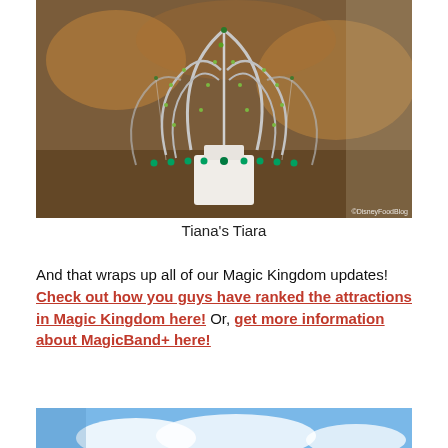[Figure (photo): A green jeweled tiara (Tiana's Tiara) displayed on a white stand in a store case, decorated with green and emerald rhinestones. Watermark: ©DisneyFoodBlog]
Tiana's Tiara
And that wraps up all of our Magic Kingdom updates! Check out how you guys have ranked the attractions in Magic Kingdom here! Or, get more information about MagicBand+ here!
[Figure (photo): Bottom of page shows a partial photo with blue sky and clouds]